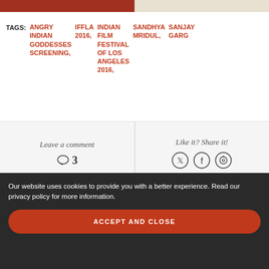[Figure (photo): Two partial images at the top: left shows a red/maroon background with partial figures, right shows a light/cream background with a figure in white.]
TAGS: ANGRY INDIAN GODDESSES SCREENING, IFFLA 2016, INDIAN FILM FESTIVAL OF LOS ANGELES 2016, SANDHYA MRIDUL, SANJAY GARG
Leave a comment
3
Like it? Share it!
Our website uses cookies to provide you with a better experience. Read our privacy policy for more information.
ACCEPT AND CLOSE